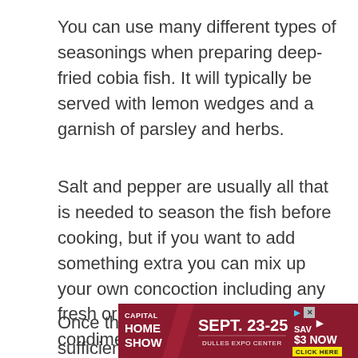You can use many different types of seasonings when preparing deep-fried cobia fish. It will typically be served with lemon wedges and a garnish of parsley and herbs.
Salt and pepper are usually all that is needed to season the fish before cooking, but if you want to add something extra you can mix up your own concoction including any fresh or dried herbs, spices, and condiments.
Once the cobia has been sufficiently seasoned it should be cooked as soon as possible.
[Figure (other): Advertisement banner for Capital Home Show, Sept. 23-25, Dulles Expo Center. Save $3 Now. Click Here.]